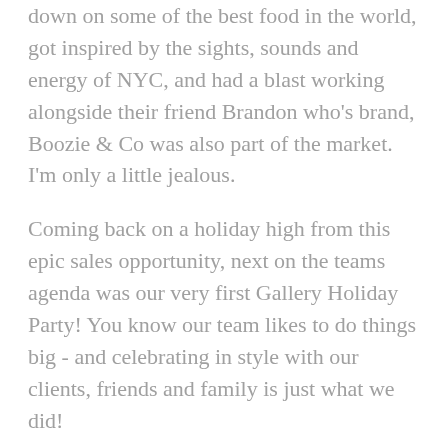down on some of the best food in the world, got inspired by the sights, sounds and energy of NYC, and had a blast working alongside their friend Brandon who's brand, Boozie & Co was also part of the market. I'm only a little jealous.
Coming back on a holiday high from this epic sales opportunity, next on the teams agenda was our very first Gallery Holiday Party! You know our team likes to do things big - and celebrating in style with our clients, friends and family is just what we did!
We finished off the year staying busy with all the gift shopping to be done and are extremely thankful for all those who supported our small business this holiday season.
Our holiday wish was for everyone to